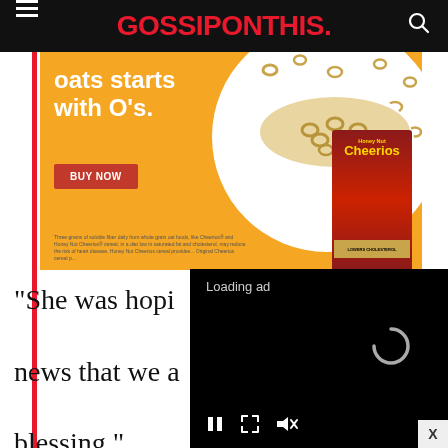GOSSIPONTHIS.
[Figure (photo): Honey Nut Cheerios advertisement banner with orange background, text 'oats starts with O's.', BUY NOW button, and Cheerios cereal box with bowl]
[Figure (screenshot): Loading ad video overlay with loading spinner, pause button, expand button, and mute button on black background]
“She was hopi… news that we a… blessing,” Dion’s husband told People Magazine…